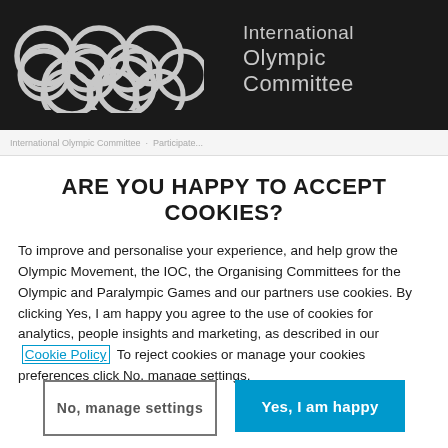[Figure (logo): International Olympic Committee logo: five Olympic rings on dark background with 'International Olympic Committee' text in grey]
ARE YOU HAPPY TO ACCEPT COOKIES?
To improve and personalise your experience, and help grow the Olympic Movement, the IOC, the Organising Committees for the Olympic and Paralympic Games and our partners use cookies. By clicking Yes, I am happy you agree to the use of cookies for analytics, people insights and marketing, as described in our Cookie Policy To reject cookies or manage your cookies preferences click No, manage settings.
No, manage settings
Yes, I am happy